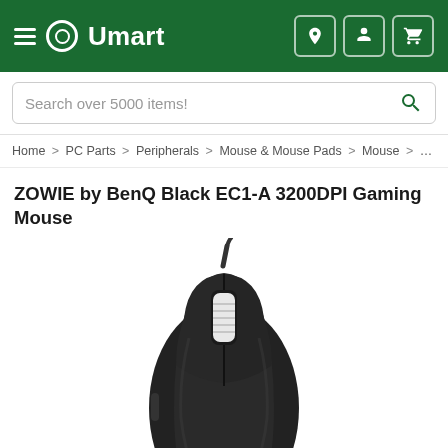Umart
Search over 5000 items!
Home > PC Parts > Peripherals > Mouse & Mouse Pads > Mouse > ZOWIE ...
ZOWIE by BenQ Black EC1-A 3200DPI Gaming Mouse
[Figure (photo): Product photo of ZOWIE by BenQ Black EC1-A 3200DPI Gaming Mouse — a black wired gaming mouse with white scroll wheel and ZOWIE logo on the bottom, viewed from a three-quarter top angle]